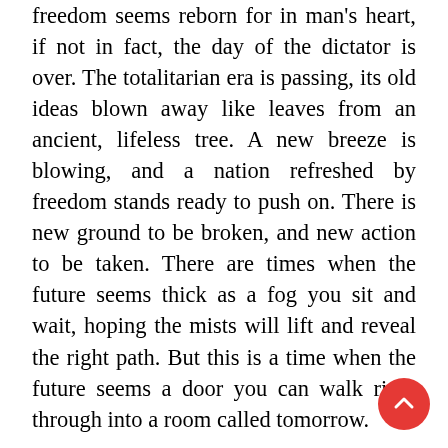freedom seems reborn for in man's heart, if not in fact, the day of the dictator is over. The totalitarian era is passing, its old ideas blown away like leaves from an ancient, lifeless tree. A new breeze is blowing, and a nation refreshed by freedom stands ready to push on. There is new ground to be broken, and new action to be taken. There are times when the future seems thick as a fog you sit and wait, hoping the mists will lift and reveal the right path. But this is a time when the future seems a door you can walk right through into a room called tomorrow.
Great nations of the world are moving toward democracy through the door to freedom. Men and women of the world move toward free markets through the door to prosperity. The people of the world agitate for free expression and free thought through the door to the moral and intellectual